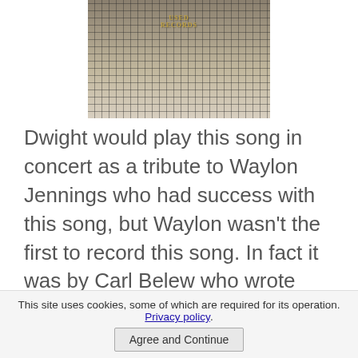[Figure (photo): Storefront of a record store with metal security gate, sign reading 'USED RECORDS']
Dwight would play this song in concert as a tribute to Waylon Jennings who had success with this song, but Waylon wasn't the first to record this song. In fact it was by Carl Belew who wrote and recorded it back in 1957. And then later that year Patsy Cline did a version and had success with the song.
This site uses cookies, some of which are required for its operation. Privacy policy
Agree and Continue